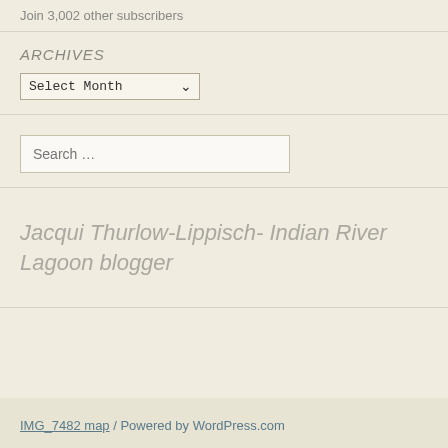Join 3,002 other subscribers
ARCHIVES
Select Month
Search …
Jacqui Thurlow-Lippisch- Indian River Lagoon blogger
IMG_7482 map  /  Powered by WordPress.com